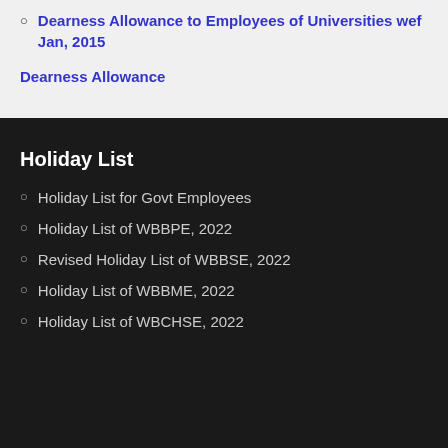Dearness Allowance to Employees of Universities wef Jan, 2015
Dearness Allowance
Holiday List
Holiday List for Govt Employees
Holiday List of WBBPE, 2022
Revised Holiday List of WBBSE, 2022
Holiday List of WBBME, 2022
Holiday List of WBCHSE, 2022